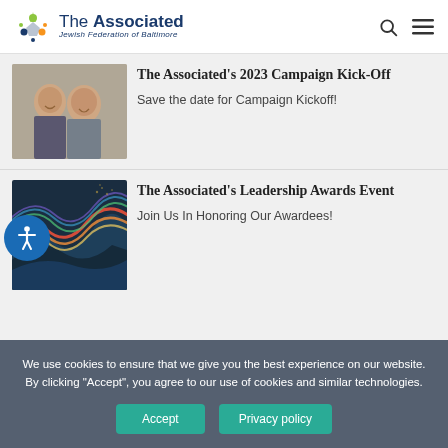[Figure (logo): The Associated: Jewish Federation of Baltimore logo with star-people icon]
The Associated's 2023 Campaign Kick-Off
Save the date for Campaign Kickoff!
[Figure (photo): Smiling couple at an event]
The Associated's Leadership Awards Event
Join Us In Honoring Our Awardees!
[Figure (illustration): Colorful abstract wave art on dark background]
We use cookies to ensure that we give you the best experience on our website. By clicking "Accept", you agree to our use of cookies and similar technologies.